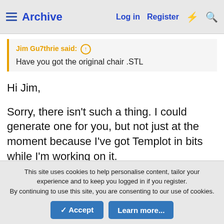Archive | Log in | Register
Jim Gu7thrie said: ↑
Have you got the original chair .STL
Hi Jim,
Sorry, there isn't such a thing. I could generate one for you, but not just at the moment because I've got Templot in bits while I'm working on it.
I think we may be at cross-purposes. These chairs are generated by Templot on the fly, I'm not using
This site uses cookies to help personalise content, tailor your experience and to keep you logged in if you register.
By continuing to use this site, you are consenting to our use of cookies.